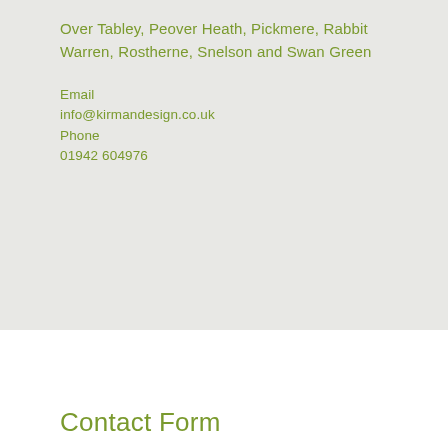Over Tabley, Peover Heath, Pickmere, Rabbit Warren, Rostherne, Snelson and Swan Green
Email
info@kirmandesign.co.uk
Phone
01942 604976
Contact Form